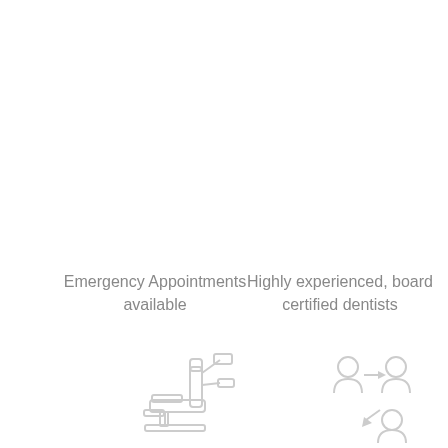Emergency Appointments available
[Figure (illustration): Icon of a dental chair with equipment]
Highly experienced, board certified dentists
[Figure (illustration): Icon of people with arrows indicating referral or team]